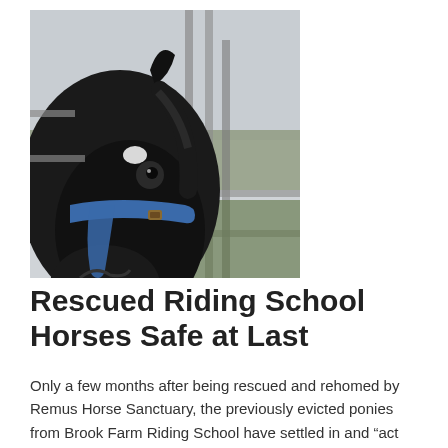[Figure (photo): Close-up photograph of a dark/black horse wearing a blue halter, standing near metal fence rails with a green field visible in the background. The horse has a white star marking on its forehead.]
Rescued Riding School Horses Safe at Last
Only a few months after being rescued and rehomed by Remus Horse Sanctuary, the previously evicted ponies from Brook Farm Riding School have settled in and “act like they have always been with us,” says Charity Founder Sue Burton.